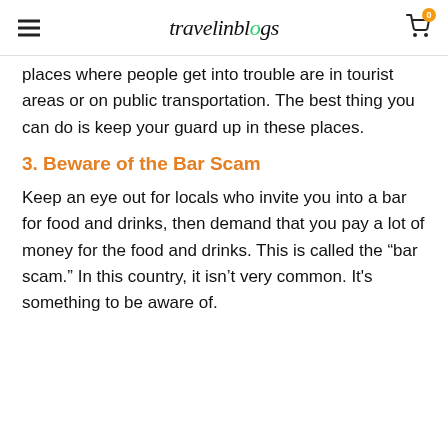travelinblogs
places where people get into trouble are in tourist areas or on public transportation. The best thing you can do is keep your guard up in these places.
3. Beware of the Bar Scam
Keep an eye out for locals who invite you into a bar for food and drinks, then demand that you pay a lot of money for the food and drinks. This is called the “bar scam.” In this country, it isn’t very common. It's something to be aware of.